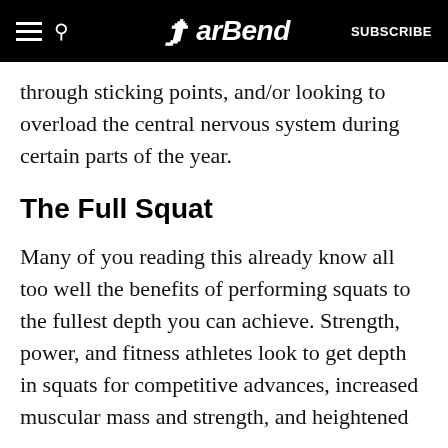BarBend — SUBSCRIBE
through sticking points, and/or looking to overload the central nervous system during certain parts of the year.
The Full Squat
Many of you reading this already know all too well the benefits of performing squats to the fullest depth you can achieve. Strength, power, and fitness athletes look to get depth in squats for competitive advances, increased muscular mass and strength, and heightened